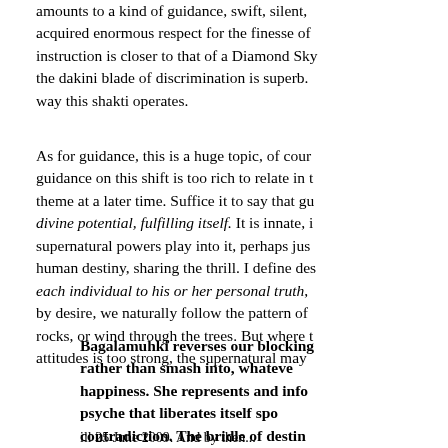amounts to a kind of guidance, swift, silent, acquired enormous respect for the finesse of instruction is closer to that of a Diamond Sky the dakini blade of discrimination is superb. way this shakti operates.
As for guidance, this is a huge topic, of course. guidance on this shift is too rich to relate in theme at a later time. Suffice it to say that divine potential, fulfilling itself. It is innate, supernatural powers play into it, perhaps just human destiny, sharing the thrill. I define des each individual to his or her personal truth, by desire, we naturally follow the pattern of rocks, or wind through the trees. But where attitudes is too strong, the supernatural may
Bagalamuhki reverses our blocking rather than smash into, whatever happiness. She represents and infuses psyche that liberates itself spontaneously from contradiction. The bridle of destiny is desire tightly coupled with all that we enjoy.
ill 25 June 2009. And by then...